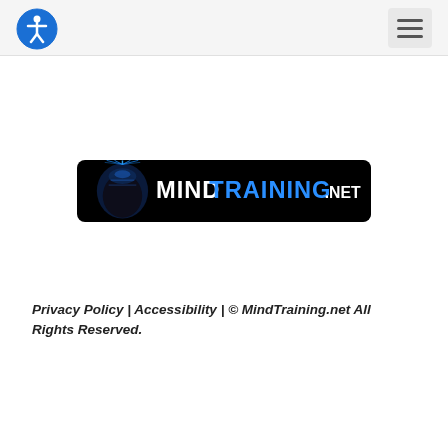[Figure (logo): Accessibility icon — blue circle with white stick figure person]
[Figure (logo): Hamburger menu button with three horizontal lines]
[Figure (logo): MindTraining.net logo banner on black background with brain graphic and text MIND TRAINING .NET]
Privacy Policy | Accessibility | © MindTraining.net All Rights Reserved.